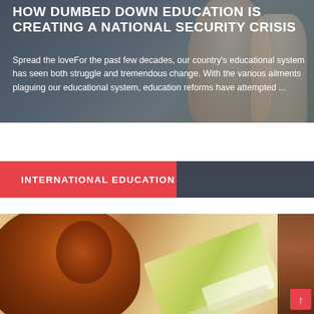[Figure (photo): Dark-tinted photo of people (likely students/people) with hands visible, overlaid with article title and excerpt text in white.]
HOW DUMBED DOWN EDUCATION IS CREATING A NATIONAL SECURITY CRISIS
Spread the loveFor the past few decades, our country's educational system has seen both struggle and tremendous change. With the various ailments plaguing our educational system, education reforms have attempted ...
INTERNATIONAL EDUCATION
[Figure (photo): Photo of a person with curly reddish-brown hair seen from behind, looking at a map or document, with a warm sunlit background.]